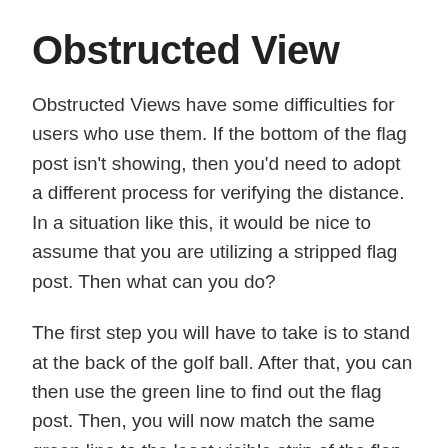Obstructed View
Obstructed Views have some difficulties for users who use them. If the bottom of the flag post isn’t showing, then you’d need to adopt a different process for verifying the distance. In a situation like this, it would be nice to assume that you are utilizing a stripped flag post. Then what can you do?
The first step you will have to take is to stand at the back of the golf ball. After that, you can then use the green line to find out the flag post. Then, you will now match the same green line to the least visible strip of the flap stick. For you to successfully match the lowest strip to the green line, you must title the scope gently